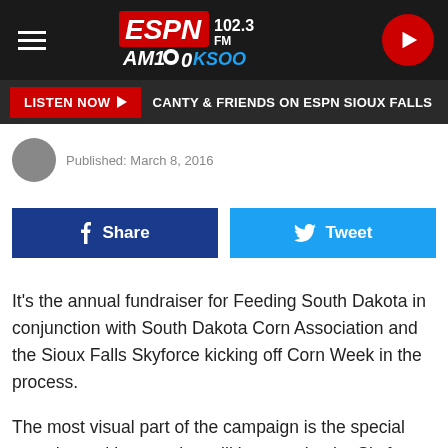ESPN 102.3 FM AM1000 KSOO
LISTEN NOW ► CANTY & FRIENDS ON ESPN SIOUX FALLS
Published: March 8, 2016
f Share  🐦 Tweet
It's the annual fundraiser for Feeding South Dakota in conjunction with South Dakota Corn Association and the Sioux Falls Skyforce kicking off Corn Week in the process.

The most visual part of the campaign is the special corn themed jerseys that will be worn by the Skyforce at the Sanford Pentagon during their upcoming game on March 17. In previous years, the outfits have been trending more yellow, but this year more green will be displayed on St. Patrick's Day no less.